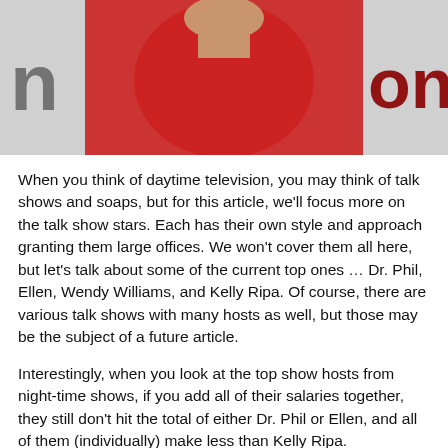[Figure (photo): A person wearing a red t-shirt in front of a backdrop with partial letters visible ('n' on left, 'on' on right in red). This appears to be a press event photo.]
When you think of daytime television, you may think of talk shows and soaps, but for this article, we'll focus more on the talk show stars. Each has their own style and approach granting them large offices. We won't cover them all here, but let's talk about some of the current top ones … Dr. Phil, Ellen, Wendy Williams, and Kelly Ripa. Of course, there are various talk shows with many hosts as well, but those may be the subject of a future article.
Interestingly, when you look at the top show hosts from night-time shows, if you add all of their salaries together, they still don't hit the total of either Dr. Phil or Ellen, and all of them (individually) make less than Kelly Ripa.
Dr. Phil McGraw